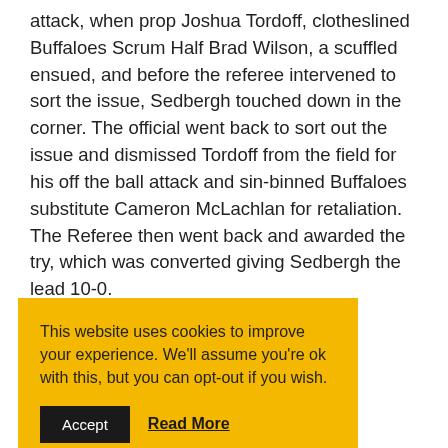attack, when prop Joshua Tordoff, clotheslined Buffaloes Scrum Half Brad Wilson, a scuffled ensued, and before the referee intervened to sort the issue, Sedbergh touched down in the corner. The official went back to sort out the issue and dismissed Tordoff from the field for his off the ball attack and sin-binned Buffaloes substitute Cameron McLachlan for retaliation. The Referee then went back and awarded the try, which was converted giving Sedbergh the [lead 10-0...] [...]ought they [...] broke the [...] uchline only [...] ers allegedly leading with his elbow. From the penalty,
This website uses cookies to improve your experience. We'll assume you're ok with this, but you can opt-out if you wish. Accept Read More